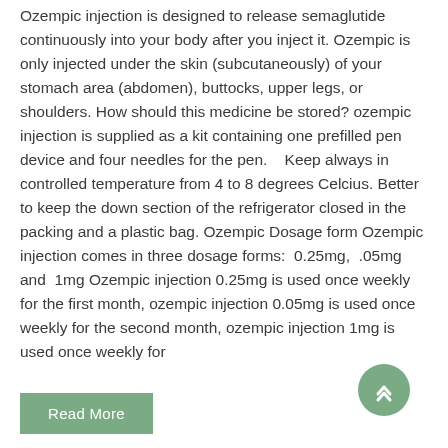Ozempic injection is designed to release semaglutide continuously into your body after you inject it. Ozempic is only injected under the skin (subcutaneously) of your stomach area (abdomen), buttocks, upper legs, or shoulders. How should this medicine be stored? ozempic injection is supplied as a kit containing one prefilled pen device and four needles for the pen.    Keep always in controlled temperature from 4 to 8 degrees Celcius. Better to keep the down section of the refrigerator closed in the packing and a plastic bag. Ozempic Dosage form Ozempic injection comes in three dosage forms:  0.25mg,  .05mg and  1mg Ozempic injection 0.25mg is used once weekly for the first month, ozempic injection 0.05mg is used once weekly for the second month, ozempic injection 1mg is used once weekly for